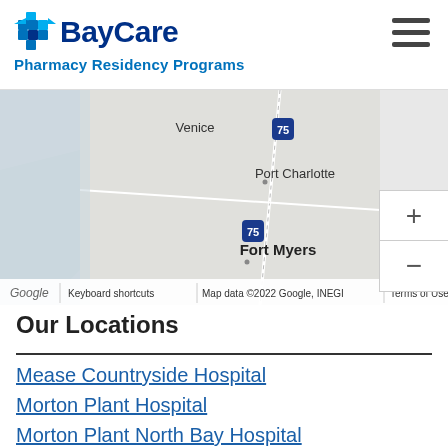[Figure (logo): BayCare Pharmacy Residency Programs logo with blue cross icon and text]
[Figure (map): Google Maps screenshot showing the southwest Florida area including Venice, Port Charlotte, and Fort Myers regions]
Our Locations
Mease Countryside Hospital
Morton Plant Hospital
Morton Plant North Bay Hospital
South Florida Baptist Hospital
St. Anthony Hospital